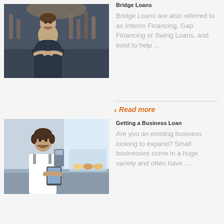[Figure (photo): Man with arms crossed standing in a shop/store, smiling]
Bridge Loans
Bridge Loans are also referred to as Interim Financing, Gap Financing or Swing Loans, and exist to help ...
❯ Read more
[Figure (photo): Man in apron behind a counter at a cafe/bakery, holding a tablet, smiling]
Getting a Business Loan
Are you an existing business looking to expand? Small businesses come in a huge variety and often have ...